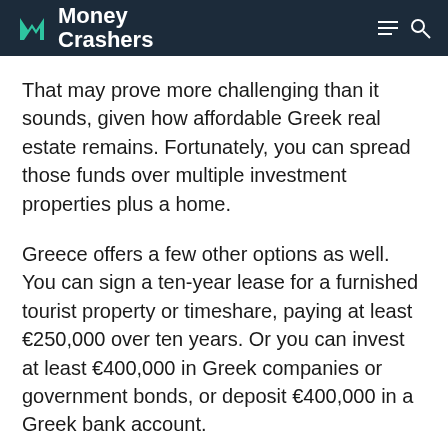Money Crashers
That may prove more challenging than it sounds, given how affordable Greek real estate remains. Fortunately, you can spread those funds over multiple investment properties plus a home.
Greece offers a few other options as well. You can sign a ten-year lease for a furnished tourist property or timeshare, paying at least €250,000 over ten years. Or you can invest at least €400,000 in Greek companies or government bonds, or deposit €400,000 in a Greek bank account.
Once a resident, you can move freely around the Schengen Area, of which Greece is a member